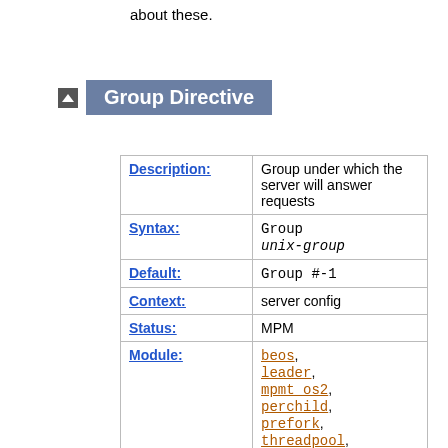about these.
Group Directive
| Field | Value |
| --- | --- |
| Description: | Group under which the server will answer requests |
| Syntax: | Group unix-group |
| Default: | Group #-1 |
| Context: | server config |
| Status: | MPM |
| Module: | beos, leader, mpmt_os2, perchild, prefork, threadpool, worker |
| Compatibility: | Only valid in global server |